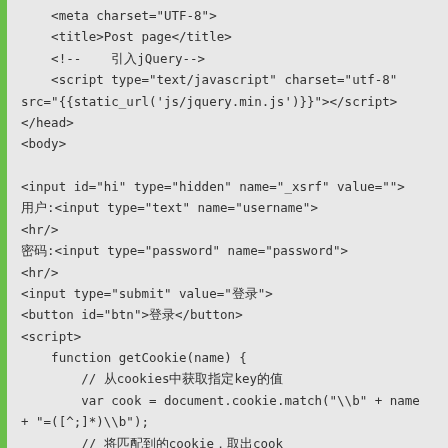[Figure (screenshot): Code editor screenshot showing HTML and JavaScript code for a login page with jQuery, form inputs, and getCookie function]